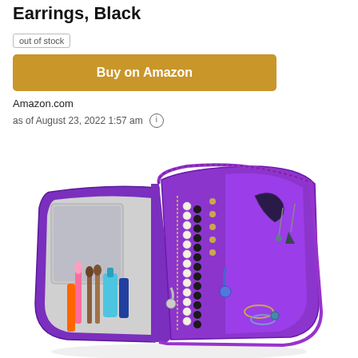Earrings, Black
out of stock
Buy on Amazon
Amazon.com
as of August 23, 2022 1:57 am
[Figure (photo): Open purple zippered jewelry/travel organizer bag showing necklaces, earrings, and other jewelry items organized in pockets, with cosmetic brushes and other items visible inside]